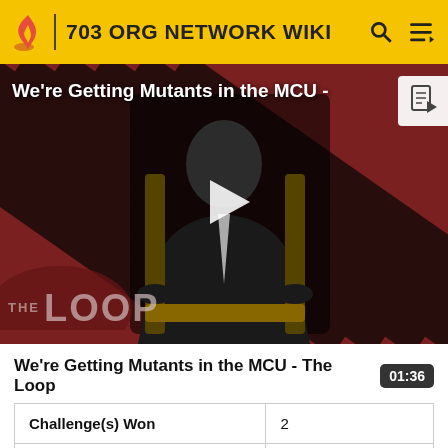703 ORG NETWORK WIKI
[Figure (screenshot): Video thumbnail showing a bald man in a suit seated in a chair, with diagonal red and dark stripe background. 'THE LOOP' logo overlay. Play button in center. Title overlay 'We're Getting Mutants in the MCU -' in white text.]
We're Getting Mutants in the MCU - The Loop
| Challenge(s) Won | 2 |
| Vote(s) Against | 4 |
| Day(s) Lasted | 9 |